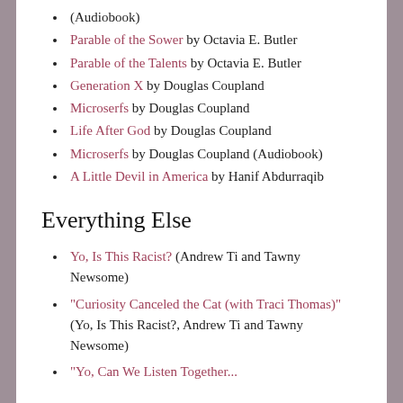(Audiobook)
Parable of the Sower by Octavia E. Butler
Parable of the Talents by Octavia E. Butler
Generation X by Douglas Coupland
Microserfs by Douglas Coupland
Life After God by Douglas Coupland
Microserfs by Douglas Coupland (Audiobook)
A Little Devil in America by Hanif Abdurraqib
Everything Else
Yo, Is This Racist? (Andrew Ti and Tawny Newsome)
"Curiosity Canceled the Cat (with Traci Thomas)" (Yo, Is This Racist?, Andrew Ti and Tawny Newsome)
"Yo, Can We Listen Together..."